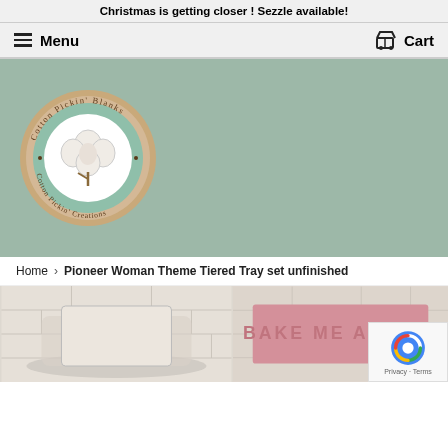Christmas is getting closer ! Sezzle available!
Menu   Cart
[Figure (logo): Cotton Pickin' Blanks / Cotton Pickin' Creations circular logo with cotton flower illustration, beige and mint green colors]
Home  ›  Pioneer Woman Theme Tiered Tray set unfinished
[Figure (photo): Product photo showing tiered tray items including a pink sign reading BAKE ME A CAKE on a white brick background]